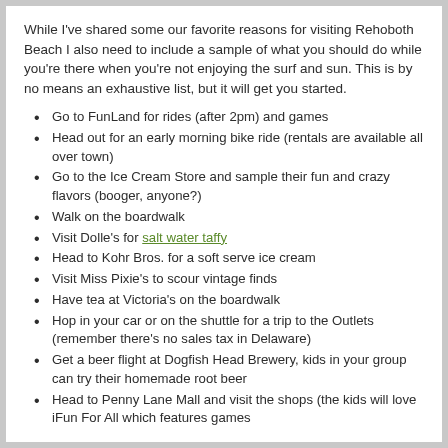While I've shared some our favorite reasons for visiting Rehoboth Beach I also need to include a sample of what you should do while you're there when you're not enjoying the surf and sun. This is by no means an exhaustive list, but it will get you started.
Go to FunLand for rides (after 2pm) and games
Head out for an early morning bike ride (rentals are available all over town)
Go to the Ice Cream Store and sample their fun and crazy flavors (booger, anyone?)
Walk on the boardwalk
Visit Dolle's for salt water taffy
Head to Kohr Bros. for a soft serve ice cream
Visit Miss Pixie's to scour vintage finds
Have tea at Victoria's on the boardwalk
Hop in your car or on the shuttle for a trip to the Outlets (remember there's no sales tax in Delaware)
Get a beer flight at Dogfish Head Brewery, kids in your group can try their homemade root beer
Head to Penny Lane Mall and visit the shops (the kids will love iFun For All which features games...